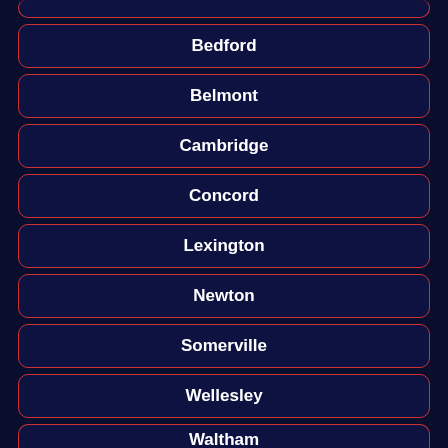Bedford
Belmont
Cambridge
Concord
Lexington
Newton
Somerville
Wellesley
Waltham